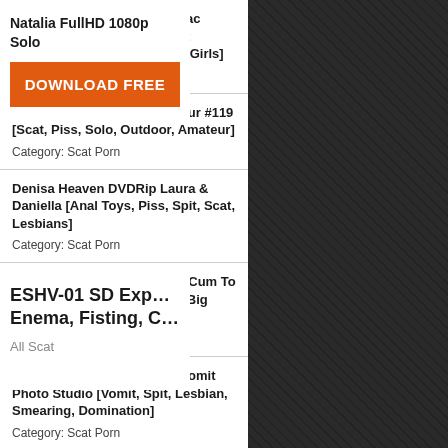Elena FullHD 1080p EfroDisiac [Solo, Shitting, Scatting, Shit Masturbation, Efro, Pooping Girls]
Category: Scat Porn
Lusia HD 720p Kaviar Amateur #119 [Scat, Piss, Solo, Outdoor, Amateur]
Category: Scat Porn
Denisa Heaven DVDRip Laura & Daniella [Anal Toys, Piss, Spit, Scat, Lesbians]
Category: Scat Porn
Loverachelle2 FullHD 1080p Cum To My Nasty Stinky Shit! [Scat, Big Ass, Big Butt, Solo, Girl]
Category: Scat Porn
Giovanna, Priscila DVDRip Vomit Photo Studio [Vomit, Spit, Lesbian, Smearing, Domination]
Category: Scat Porn
Natalia FullHD 1080p Solo
DOWNLOAD FREE
ESHV-01 SD Exp... Enema, Fisting, C...
All Scat